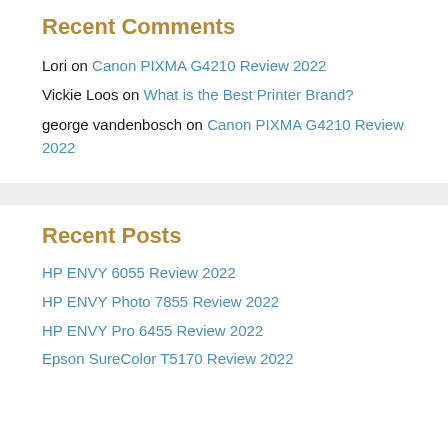Recent Comments
Lori on Canon PIXMA G4210 Review 2022
Vickie Loos on What is the Best Printer Brand?
george vandenbosch on Canon PIXMA G4210 Review 2022
Recent Posts
HP ENVY 6055 Review 2022
HP ENVY Photo 7855 Review 2022
HP ENVY Pro 6455 Review 2022
Epson SureColor T5170 Review 2022